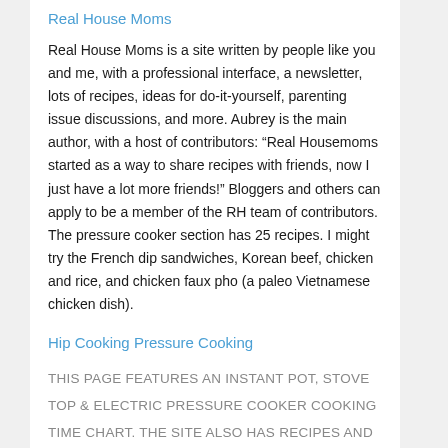Real House Moms
Real House Moms is a site written by people like you and me, with a professional interface, a newsletter, lots of recipes, ideas for do-it-yourself, parenting issue discussions, and more. Aubrey is the main author, with a host of contributors: “Real Housemoms started as a way to share recipes with friends, now I just have a lot more friends!” Bloggers and others can apply to be a member of the RH team of contributors. The pressure cooker section has 25 recipes. I might try the French dip sandwiches, Korean beef, chicken and rice, and chicken faux pho (a paleo Vietnamese chicken dish).
Hip Cooking Pressure Cooking
THIS PAGE FEATURES AN INSTANT POT, STOVE TOP & ELECTRIC PRESSURE COOKER COOKING TIME CHART. THE SITE ALSO HAS RECIPES AND LINKS TO RECIPES FOR LOTS OF PRESSURE COOKER RECIPES, MANY OF WHICH